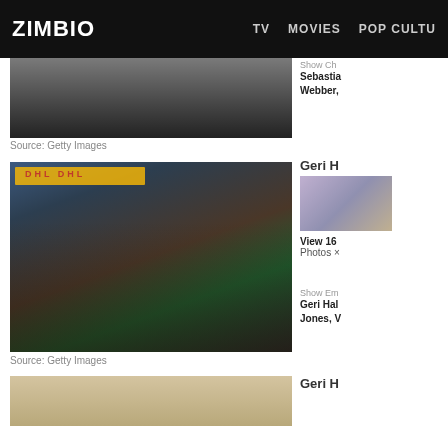ZIMBIO   TV   MOVIES   POP CULTU
[Figure (photo): Partially cropped photo of people at a racing event, top of page]
Source: Getty Images
[Figure (photo): Group photo of Red Bull Racing team members and female celebrities (including Geri Halliwell) on the Formula 1 pit lane with DHL banners in the background]
Source: Getty Images
[Figure (photo): Partial photo at bottom, Geri H section]
Show Ch
Sebastia
Webber,
Geri H
[Figure (photo): Small sidebar thumbnail of women at event]
View 16 Photos ×
Show Em
Geri Hal
Jones, V
Geri H